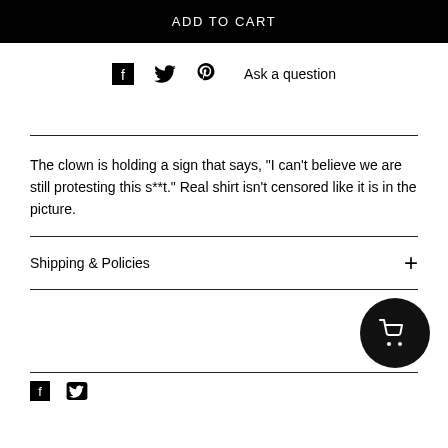ADD TO CART
[Figure (infographic): Social sharing icons row: Facebook icon, Twitter icon, Pinterest icon, and Ask a question link]
The clown is holding a sign that says, "I can't believe we are still protesting this s**t." Real shirt isn't censored like it is in the picture.
Shipping & Policies
[Figure (other): Shopping cart circular button (floating action button, black circle with white cart icon)]